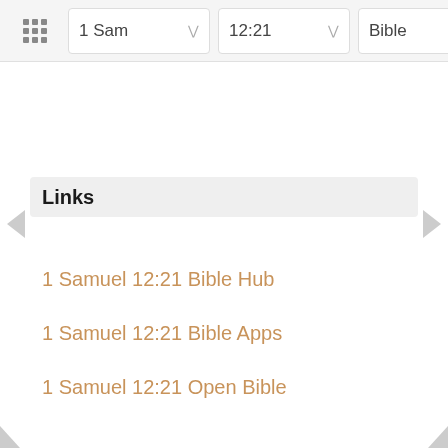1 Sam  12:21  Bible
Links
1 Samuel 12:21 Bible Hub
1 Samuel 12:21 Bible Apps
1 Samuel 12:21 Open Bible